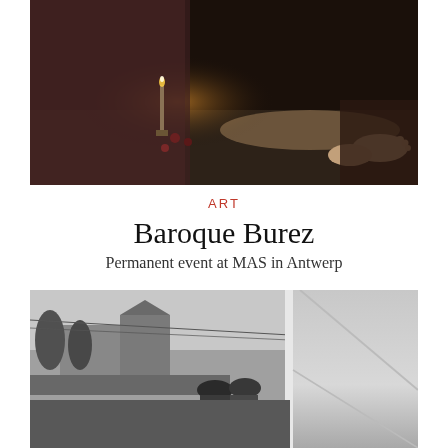[Figure (photo): Dark-toned artistic photograph showing a person lying on a floor with a lit candle in a candlestick holder and bare feet visible, warm dim lighting, baroque aesthetic]
ART
Baroque Burez
Permanent event at MAS in Antwerp
[Figure (photo): Black and white photograph showing people viewed from behind looking out through a large window or glass facade at a town square or fair with trees, buildings and crowds visible outside]